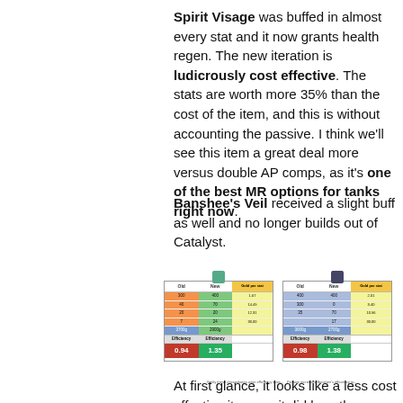Spirit Visage was buffed in almost every stat and it now grants health regen. The new iteration is ludicrously cost effective. The stats are worth more 35% than the cost of the item, and this is without accounting the passive. I think we'll see this item a great deal more versus double AP comps, as it's one of the best MR options for tanks right now.
Banshee's Veil received a slight buff as well and no longer builds out of Catalyst.
[Figure (table-as-image): Two side-by-side stat efficiency tables comparing old and new values for Spirit Visage and Banshee's Veil, showing Efficiency values of 0.94 vs 1.35 and 0.98 vs 1.38]
At first glance, it looks like a less cost effective item, as it did lose the